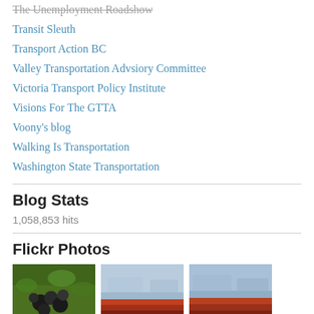The Unemployment Roadshow
Transit Sleuth
Transport Action BC
Valley Transportation Advsiory Committee
Victoria Transport Policy Institute
Visions For The GTTA
Voony's blog
Walking Is Transportation
Washington State Transportation
Blog Stats
1,058,853 hits
Flickr Photos
[Figure (photo): Three Flickr photo thumbnails: berries on a plant, a cargo ship on water with mountains, another cargo ship on water]